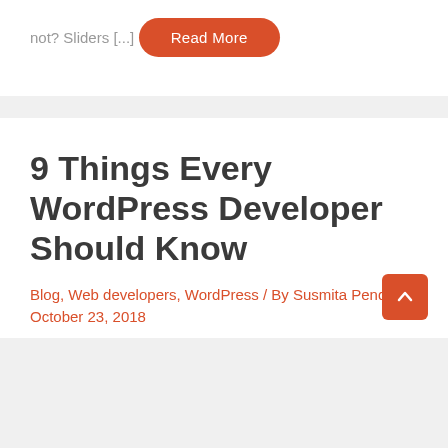not? Sliders [...]
Read More
9 Things Every WordPress Developer Should Know
Blog, Web developers, WordPress / By Susmita Pendse / October 23, 2018